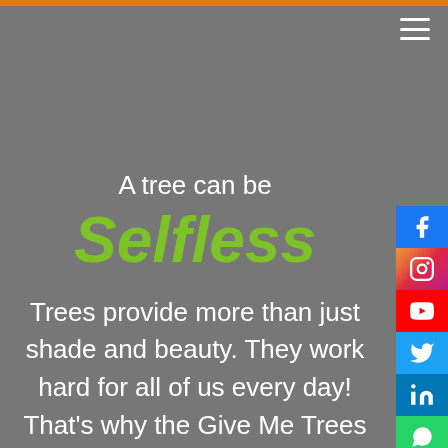A tree can be
Selfless
Trees provide more than just shade and beauty. They work hard for all of us every day! That's why the Give Me Trees team works hard everyday towards planting and preserving